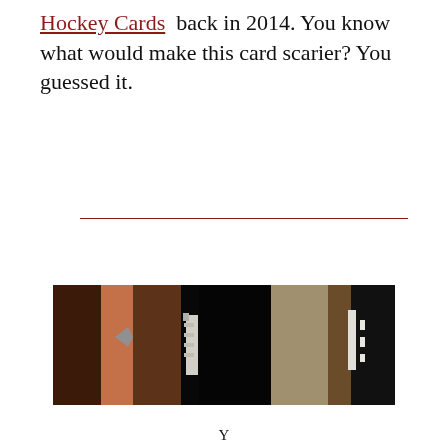Hockey Cards back in 2014. You know what would make this card scarier? You guessed it.
[Figure (photo): Close-up photograph of what appears to be hockey stick blades or similar sports equipment, showing worn brown, orange, gray, and white surfaces against a dark/black background.]
Y